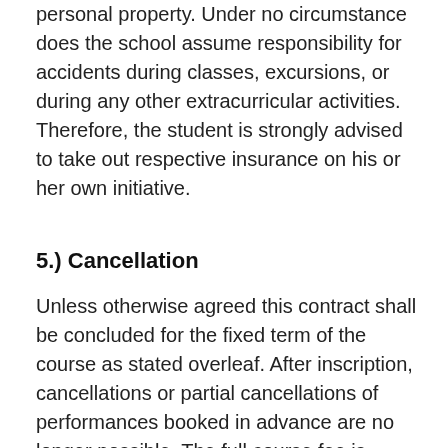personal property. Under no circumstance does the school assume responsibility for accidents during classes, excursions, or during any other extracurricular activities. Therefore, the student is strongly advised to take out respective insurance on his or her own initiative.
5.) Cancellation
Unless otherwise agreed this contract shall be concluded for the fixed term of the course as stated overleaf. After inscription, cancellations or partial cancellations of performances booked in advance are no longer possible. The full course fee is payable. There is no claim to reimbursement of payments already made, unless a visa application is being rejected